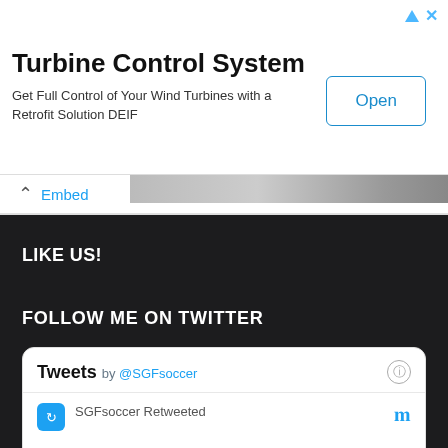[Figure (screenshot): Advertisement banner for Turbine Control System by DEIF with Open button]
Embed   View on Twitter
LIKE US!
FOLLOW ME ON TWITTER
[Figure (screenshot): Twitter widget showing Tweets by @SGFsoccer with SGFsoccer Retweeted item]